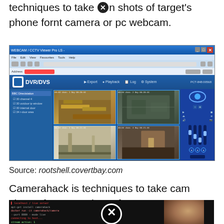techniques to take ⊗n shots of target's phone fornt camera or pc webcam.
[Figure (screenshot): Screenshot of DVR/DVS surveillance software showing four camera feeds in a quad view layout, with sidebar tree navigation, camera controls, and slider controls on the right.]
Source: rootshell.covertbay.com
Camerahack is techniques to take cam shots of target's phone fornt camera or pc webcam. Install docker on your machine, and run the following command:
[Figure (screenshot): Dark terminal/command-line screenshot with red text and a face visible on the right side, with a crossed-circle icon overlaid in the center.]